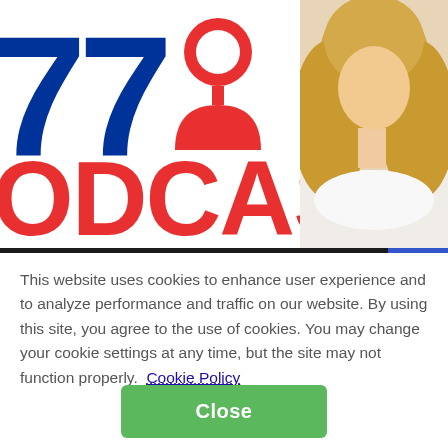[Figure (illustration): Podcast logo with large blue number/letters '77' and red text 'ODCAST' with a red microphone/person icon, plus a photo of a blonde woman in white on the right side]
This website uses cookies to enhance user experience and to analyze performance and traffic on our website. By using this site, you agree to the use of cookies. You may change your cookie settings at any time, but the site may not function properly.  Cookie Policy
Close